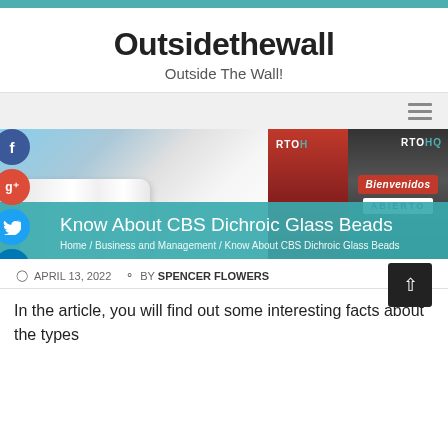Outsidethewall — Outside The Wall!
[Figure (screenshot): Website header with teal top bar, site title 'Outsidethewall', subtitle 'Outside The Wall!', navigation bar with hamburger menu, hero image collage of magazine/book photos, social media icons (Facebook, Google+, Twitter, LinkedIn), article title bar reading 'Know About CBS Dichroic Glass Beads' with breadcrumb navigation]
Know About CBS Dichroic Glass Beads
Home / Business and Management / Know About CBS Dichroic Glass Beads
APRIL 13, 2022  BY SPENCER FLOWERS
In the article, you will find out some interesting facts about the types